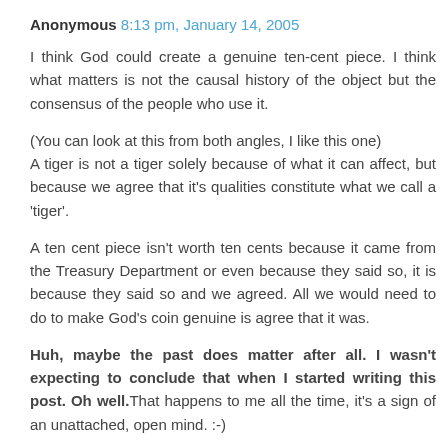Anonymous 8:13 pm, January 14, 2005
I think God could create a genuine ten-cent piece. I think what matters is not the causal history of the object but the consensus of the people who use it.
(You can look at this from both angles, I like this one)
A tiger is not a tiger solely because of what it can affect, but because we agree that it's qualities constitute what we call a 'tiger'.
A ten cent piece isn't worth ten cents because it came from the Treasury Department or even because they said so, it is because they said so and we agreed. All we would need to do to make God's coin genuine is agree that it was.
Huh, maybe the past does matter after all. I wasn't expecting to conclude that when I started writing this post. Oh well.That happens to me all the time, it's a sign of an unattached, open mind. :-)